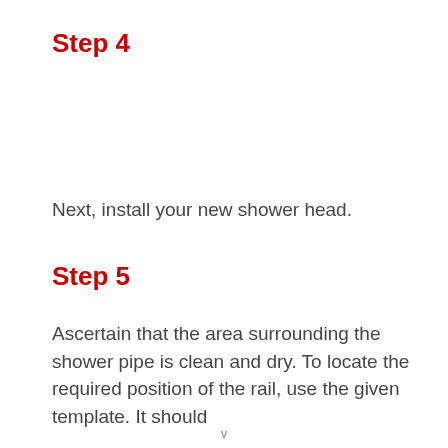Step 4
Next, install your new shower head.
Step 5
Ascertain that the area surrounding the shower pipe is clean and dry. To locate the required position of the rail, use the given template. It should
v